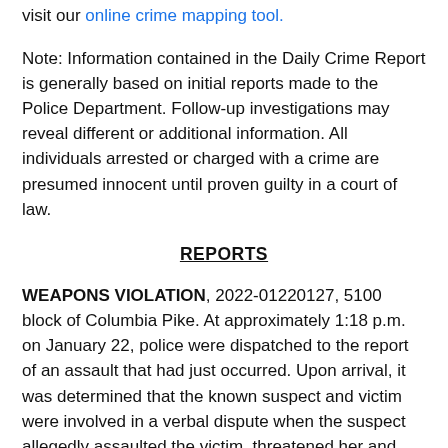visit our online crime mapping tool.
Note: Information contained in the Daily Crime Report is generally based on initial reports made to the Police Department. Follow-up investigations may reveal different or additional information. All individuals arrested or charged with a crime are presumed innocent until proven guilty in a court of law.
REPORTS
WEAPONS VIOLATION, 2022-01220127, 5100 block of Columbia Pike. At approximately 1:18 p.m. on January 22, police were dispatched to the report of an assault that had just occurred. Upon arrival, it was determined that the known suspect and victim were involved in a verbal dispute when the suspect allegedly assaulted the victim, threatened her and took her phone. She was able to leave the residence and contact police. During the course of the investigation, it was determined that the suspect had